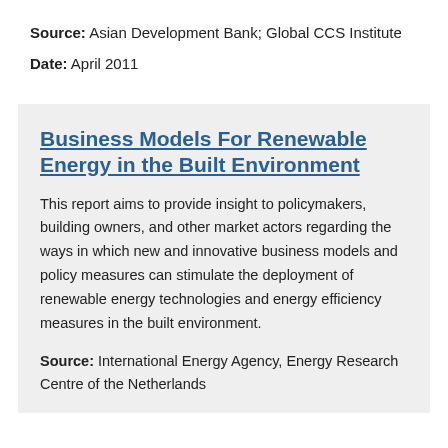Source: Asian Development Bank; Global CCS Institute
Date: April 2011
Business Models For Renewable Energy in the Built Environment
This report aims to provide insight to policymakers, building owners, and other market actors regarding the ways in which new and innovative business models and policy measures can stimulate the deployment of renewable energy technologies and energy efficiency measures in the built environment.
Source: International Energy Agency, Energy Research Centre of the Netherlands